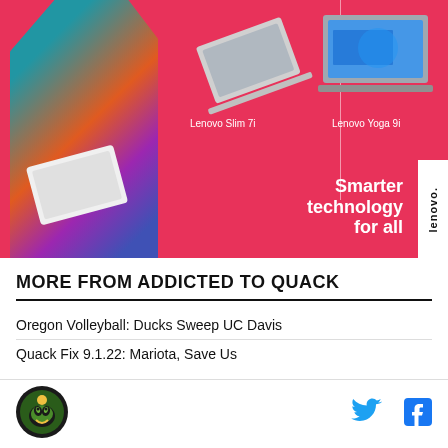[Figure (photo): Lenovo advertisement with pink/red background. A woman with curly hair wearing a colorful top carries a white Lenovo laptop. Two laptops shown: Lenovo Slim 7i and Lenovo Yoga 9i. Text reads 'Smarter technology for all' with Lenovo logo tab on right side.]
MORE FROM ADDICTED TO QUACK
Oregon Volleyball: Ducks Sweep UC Davis
Quack Fix 9.1.22: Mariota, Save Us
[Figure (logo): Addicted to Quack site logo — circular green and black duck icon]
[Figure (logo): Twitter bird icon in blue]
[Figure (logo): Facebook f icon in blue]